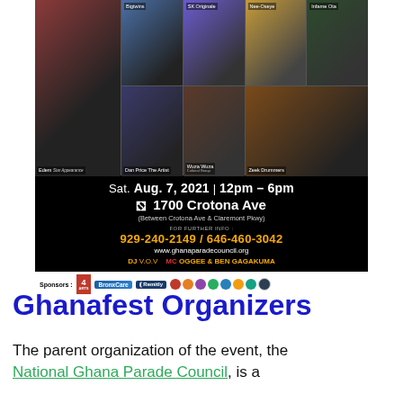[Figure (photo): Ghanafest 2021 event flyer showing a collage of performers including Edem Star Appearance, Bigtwins, SK Originale, Nee-Oseye, Infarne Ota, Dan Price The Artist, Wuza Wuza Cultural Group, Zeek Drummers. Black background with event details: Sat. Aug. 7, 2021 | 12pm – 6pm, 1700 Crotona Ave (Between Crotona Ave & Claremont Pkwy), phone numbers 929-240-2149 / 646-460-3042, website www.ghanaparadecouncil.org, DJ V.O.V, MC OGGEE & BEN GAGAKUMA. Sponsors bar at bottom with logos.]
Ghanafest Organizers
The parent organization of the event, the National Ghana Parade Council, is a